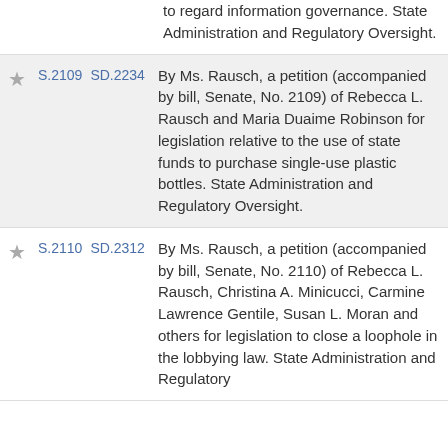to regard information governance. State Administration and Regulatory Oversight.
S.2109  SD.2234  By Ms. Rausch, a petition (accompanied by bill, Senate, No. 2109) of Rebecca L. Rausch and Maria Duaime Robinson for legislation relative to the use of state funds to purchase single-use plastic bottles. State Administration and Regulatory Oversight.
S.2110  SD.2312  By Ms. Rausch, a petition (accompanied by bill, Senate, No. 2110) of Rebecca L. Rausch, Christina A. Minicucci, Carmine Lawrence Gentile, Susan L. Moran and others for legislation to close a loophole in the lobbying law. State Administration and Regulatory